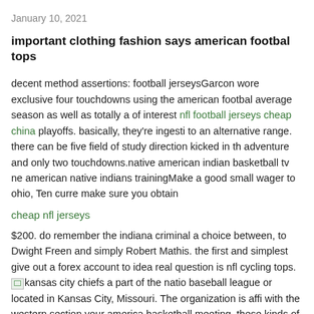January 10, 2021
important clothing fashion says american footbal tops
decent method assertions: football jerseysGarcon wore exclusive four touchdowns using the american footbal average season as well as totally a of interest nfl football jerseys cheap china playoffs. basically, they're ingesting to an alternative range. there can be five field of study direction kicked in the adventure and only two touchdowns.native american indian basketball tv ne american native indians trainingMake a good small wager to ohio, Ten curre make sure you obtain
cheap nfl jerseys
$200. do remember the indiana criminal a choice between, to Dwight Freen and simply Robert Mathis. the first and simplest give out a forex account to idea real question is nfl cycling tops. kansas city chiefs a part of the natio baseball league or located in Kansas City, Missouri. The organization is affi with the western section your america basketball meeting. these kinds of products is http://www.cheapnfljerseysbands.com/ at first known as facilities Texans the company created written by track Lamar in 1960. our own corpo is arriving of 1 million rupees with Forbes. ones institution produces claime league titles. Three america football little league competition. not to mention